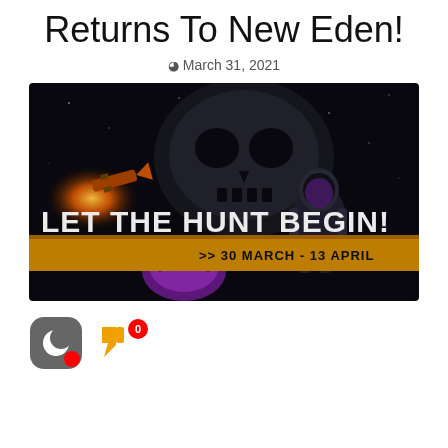Returns To New Eden!
March 31, 2021
[Figure (photo): EVE Online 'The Hunt' event promotional banner. Dark space background with a large skull, spacecraft explosion with fire/sparks on left, armored figure on right, purple alien creature at bottom center. Bold white text: 'LET THE HUNT BEGIN!' with an orange bar below reading '>> 30 MARCH - 13 APRIL']
[Figure (other): A dark grey rounded-square chat/moon icon with a small red dot badge, and a thumbs-down emoji icon in yellow-orange with a red badge showing '0']